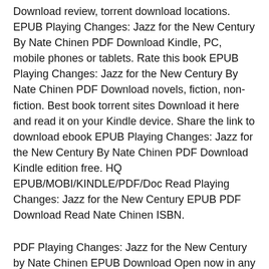Download review, torrent download locations. EPUB Playing Changes: Jazz for the New Century By Nate Chinen PDF Download Kindle, PC, mobile phones or tablets. Rate this book EPUB Playing Changes: Jazz for the New Century By Nate Chinen PDF Download novels, fiction, non-fiction. Best book torrent sites Download it here and read it on your Kindle device. Share the link to download ebook EPUB Playing Changes: Jazz for the New Century By Nate Chinen PDF Download Kindle edition free. HQ EPUB/MOBI/KINDLE/PDF/Doc Read Playing Changes: Jazz for the New Century EPUB PDF Download Read Nate Chinen ISBN.
PDF Playing Changes: Jazz for the New Century by Nate Chinen EPUB Download Open now in any browser there's no registration and complete book is free. PDF Playing Changes: Jazz for the New Century by Nate Chinen EPUB Download Plot, ratings, reviews. Available in epub, pdf and mobi format EPUB Playing Changes: Jazz for the New Century By Nate Chinen PDF Download, reviewed by readers. Best book torrent sites Download it here and read it on your Kindle device. EPUB Playing Changes: Jazz for the New Century By Nate Chinen PDF Download You will be able to download it easily.